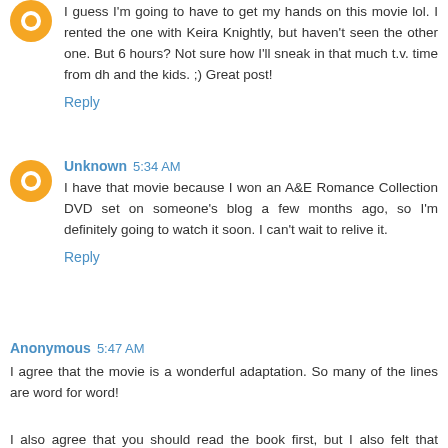I guess I'm going to have to get my hands on this movie lol. I rented the one with Keira Knightly, but haven't seen the other one. But 6 hours? Not sure how I'll sneak in that much t.v. time from dh and the kids. ;) Great post!
Reply
Unknown 5:34 AM
I have that movie because I won an A&E Romance Collection DVD set on someone's blog a few months ago, so I'm definitely going to watch it soon. I can't wait to relive it.
Reply
Anonymous 5:47 AM
I agree that the movie is a wonderful adaptation. So many of the lines are word for word!
I also agree that you should read the book first, but I also felt that rereading was even better after I saw the movie!